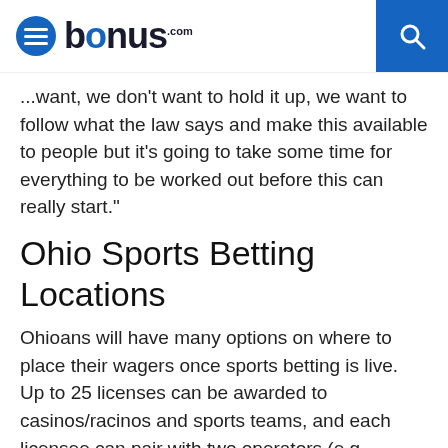bonus.com
...want, we don't want to hold it up, we want to follow what the law says and make this available to people but it's going to take some time for everything to be worked out before this can really start."
Ohio Sports Betting Locations
Ohioans will have many options on where to place their wagers once sports betting is live.  Up to 25 licenses can be awarded to casinos/racinos and sports teams, and each licensee can pair with two operators (e.g. DraftKings, BetMGM, Caesars, etc.). Therefore, up to 50 sportsbooks could be operating in Ohio when sports betting goes live. However, Matt Schuler, executive director of the Ohio Casino Control Commission (which will regulate sportsbooks), expects around 15.
The law also allows bars, restaurants, and stores to offer sports betting kiosks, which is not possible in